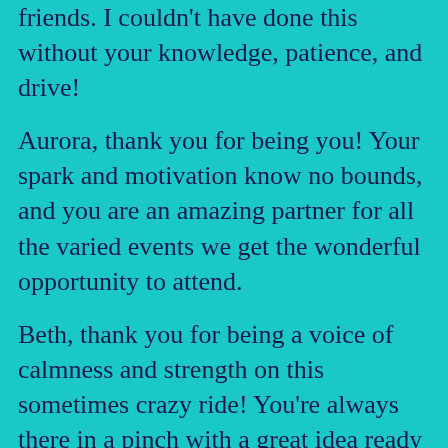friends. I couldn't have done this without your knowledge, patience, and drive!
Aurora, thank you for being you! Your spark and motivation know no bounds, and you are an amazing partner for all the varied events we get the wonderful opportunity to attend.
Beth, thank you for being a voice of calmness and strength on this sometimes crazy ride! You're always there in a pinch with a great idea ready to do whatever needs to be done.